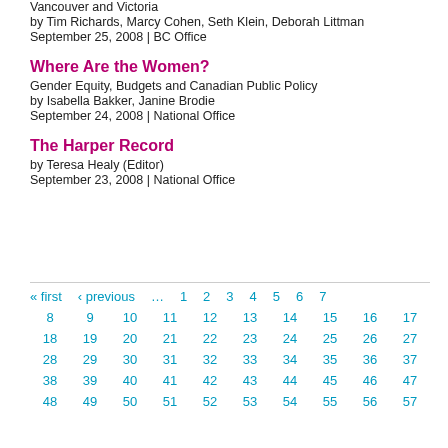Vancouver and Victoria
by Tim Richards, Marcy Cohen, Seth Klein, Deborah Littman
September 25, 2008 | BC Office
Where Are the Women?
Gender Equity, Budgets and Canadian Public Policy
by Isabella Bakker, Janine Brodie
September 24, 2008 | National Office
The Harper Record
by Teresa Healy (Editor)
September 23, 2008 | National Office
« first  ‹ previous  ...  1  2  3  4  5  6  7
8  9  10  11  12  13  14  15  16  17
18  19  20  21  22  23  24  25  26  27
28  29  30  31  32  33  34  35  36  37
38  39  40  41  42  43  44  45  46  47
48  49  50  51  52  53  54  55  56  57